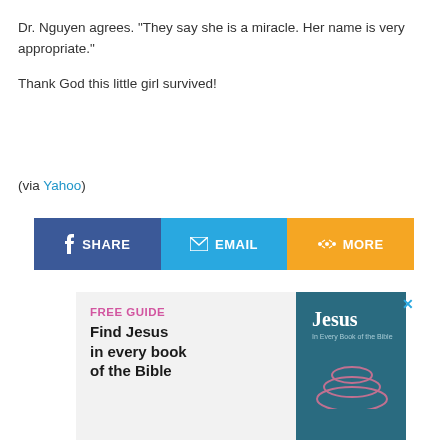Dr. Nguyen agrees. "They say she is a miracle. Her name is very appropriate."
Thank God this little girl survived!
(via Yahoo)
[Figure (infographic): Social share bar with three buttons: Facebook SHARE (dark blue), EMAIL (light blue), MORE (orange)]
[Figure (infographic): Advertisement box with pink text 'FREE GUIDE', black bold text 'Find Jesus in every book of the Bible', and a teal book cover showing 'Jesus In Every Book of the Bible' on the right side.]